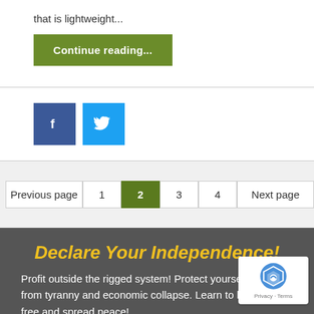that is lightweight...
Continue reading...
[Figure (other): Facebook and Twitter social share buttons]
Previous page  1  2  3  4  Next page
Declare Your Independence!
Profit outside the rigged system! Protect yourself from tyranny and economic collapse. Learn to live free and spread peace!